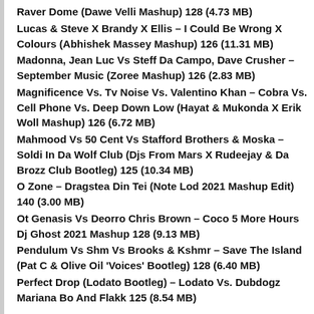Raver Dome (Dawe Velli Mashup) 128 (4.73 MB)
Lucas & Steve X Brandy X Ellis – I Could Be Wrong X Colours (Abhishek Massey Mashup) 126 (11.31 MB)
Madonna, Jean Luc Vs Steff Da Campo, Dave Crusher – September Music (Zoree Mashup) 126 (2.83 MB)
Magnificence Vs. Tv Noise Vs. Valentino Khan – Cobra Vs. Cell Phone Vs. Deep Down Low (Hayat & Mukonda X Erik Woll Mashup) 126 (6.72 MB)
Mahmood Vs 50 Cent Vs Stafford Brothers & Moska – Soldi In Da Wolf Club (Djs From Mars X Rudeejay & Da Brozz Club Bootleg) 125 (10.34 MB)
O Zone – Dragstea Din Tei (Note Lod 2021 Mashup Edit) 140 (3.00 MB)
Ot Genasis Vs Deorro Chris Brown – Coco 5 More Hours Dj Ghost 2021 Mashup 128 (9.13 MB)
Pendulum Vs Shm Vs Brooks & Kshmr – Save The Island (Pat C & Olive Oil 'Voices' Bootleg) 128 (6.40 MB)
Perfect Drop (Lodato Bootleg) – Lodato Vs. Dubdogz Mariana Bo And Flakk 125 (8.54 MB)